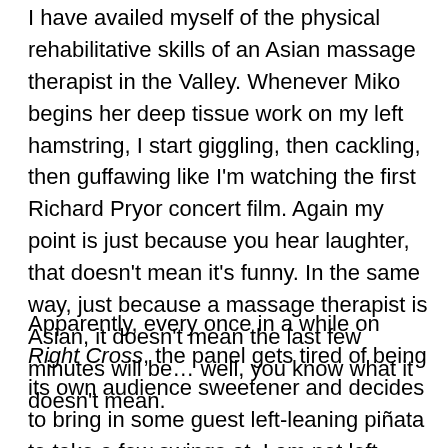I have availed myself of the physical rehabilitative skills of an Asian massage therapist in the Valley. Whenever Miko begins her deep tissue work on my left hamstring, I start giggling, then cackling, then guffawing like I'm watching the first Richard Pryor concert film. Again my point is just because you hear laughter, that doesn't mean it's funny. In the same way, just because a massage therapist is Asian, it doesn't mean the last few minutes will be… well, you know what it doesn't mean.
Apparently, every once in a while on Right Cross, the panel gets tired of being its own audience sweetener and decides to bring in some guest left-leaning piñata to take a few swings at. I am not left-leaning. I am a Commie sympathizer who doesn't pay taxes. I'm not